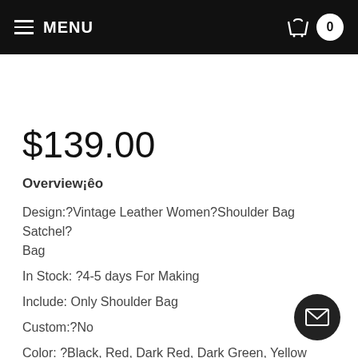≡ MENU | 🛒 0
$139.00
Overview¡êo
Design:?Vintage Leather Women?Shoulder Bag Satchel? Bag
In Stock: ?4-5 days For Making
Include: Only Shoulder Bag
Custom:?No
Color: ?Black, Red, Dark Red, Dark Green, Yellow Brow
Leather:?Vegetable tanning leather